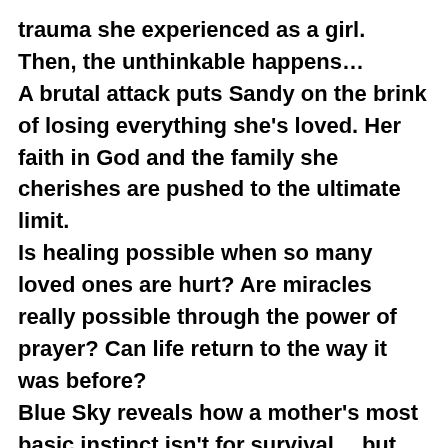trauma she experienced as a girl. Then, the unthinkable happens… A brutal attack puts Sandy on the brink of losing everything she's loved. Her faith in God and the family she cherishes are pushed to the ultimate limit. Is healing possible when so many loved ones are hurt? Are miracles really possible through the power of prayer? Can life return to the way it was before? Blue Sky reveals how a mother's most basic instinct isn't for survival… but for family. If you're a fan of Karen Kingsbury, then you'll love Blue Sky. Get your copy today on paperback or kindle. -Click to check out our marriage book For Better For Worse: discovering the keys to a lasting relationship on Amazon. You can even read the first two chapters